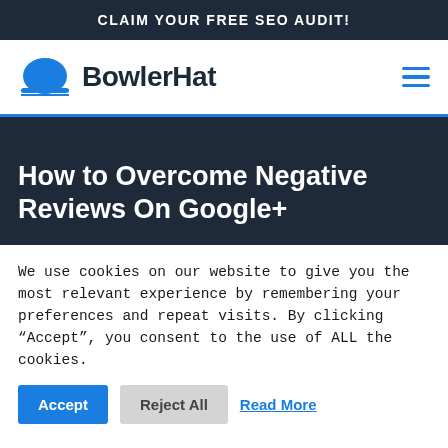CLAIM YOUR FREE SEO AUDIT!
[Figure (logo): BowlerHat logo: blue bowler hat icon followed by bold dark text 'BowlerHat']
How to Overcome Negative Reviews On Google+
We use cookies on our website to give you the most relevant experience by remembering your preferences and repeat visits. By clicking “Accept”, you consent to the use of ALL the cookies.
Accept | Reject All | Read More